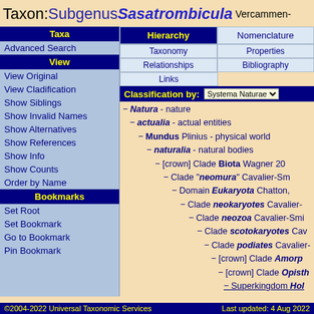Taxon: Subgenus Sasatrombicula Vercammen-
Taxa
Advanced Search
View
View Original
View Cladification
Show Siblings
Show Invalid Names
Show Alternatives
Show References
Show Info
Show Counts
Order by Name
Bookmarks
Set Root
Set Bookmark
Go to Bookmark
Pin Bookmark
Hierarchy
Nomenclature
Taxonomy
Properties
Relationships
Bibliography
Links
Classification by: Systema Naturae
− Natura - nature
− actualia - actual entities
− Mundus Plinius - physical world
− naturalia - natural bodies
− [crown] Clade Biota Wagner 20
− Clade "neomura" Cavalier-Sm
− Domain Eukaryota Chatton,
− Clade neokaryotes Cavalier-
− Clade neozoa Cavalier-Smi
− Clade scotokaryotes Cav
− Clade podiates Cavalier-
− [crown] Clade Amorp
− [crown] Clade Opisth
− Superkingdom Hol
©2004-2022 Universal Taxonomic Services    Last updated: 4 Aug 2022